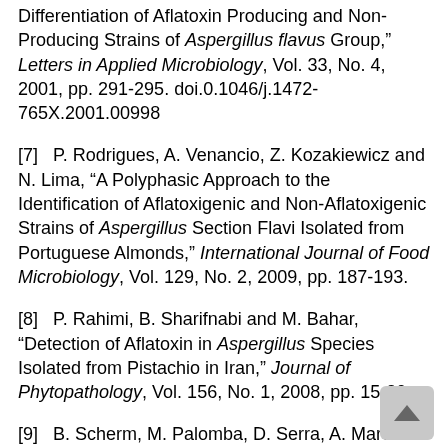Differentiation of Aflatoxin Producing and Non-Producing Strains of Aspergillus flavus Group," Letters in Applied Microbiology, Vol. 33, No. 4, 2001, pp. 291-295. doi.0.1046/j.1472-765X.2001.00998
[7]   P. Rodrigues, A. Venancio, Z. Kozakiewicz and N. Lima, "A Polyphasic Approach to the Identification of Aflatoxigenic and Non-Aflatoxigenic Strains of Aspergillus Section Flavi Isolated from Portuguese Almonds," International Journal of Food Microbiology, Vol. 129, No. 2, 2009, pp. 187-193.
[8]   P. Rahimi, B. Sharifnabi and M. Bahar, "Detection of Aflatoxin in Aspergillus Species Isolated from Pistachio in Iran," Journal of Phytopathology, Vol. 156, No. 1, 2008, pp. 15-20.
[9]   B. Scherm, M. Palomba, D. Serra, A. Marcello and Q. Migheli, "Detection of Transcripts of the Aflatoxin Genes Afld, Aflo, and Aflp by Reverse Transcription-Polymerase Chain Reaction Allows…